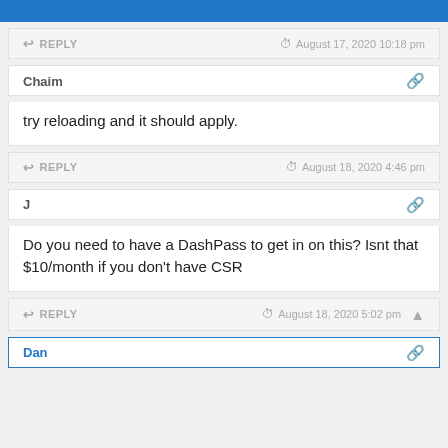DansDeals
REPLY   August 17, 2020 10:18 pm
Chaim
try reloading and it should apply.
REPLY   August 18, 2020 4:46 pm
J
Do you need to have a DashPass to get in on this? Isnt that $10/month if you don't have CSR
REPLY   August 18, 2020 5:02 pm
Dan